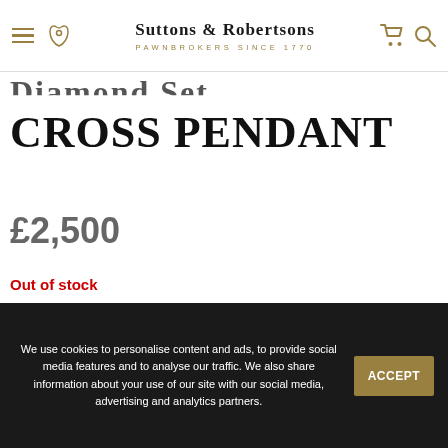Suttons & Robertsons — Pawnbrokers Since 1770
DIAMOND SET CROSS PENDANT
£2,500
Out of stock
ENQUIRE
We use cookies to personalise content and ads, to provide social media features and to analyse our traffic. We also share information about your use of our site with our social media, advertising and analytics partners.
ACCEPT